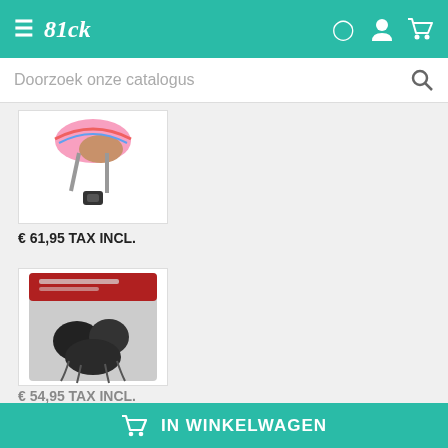≡ 81ck [user icon] [cart icon]
Doorzoek onze catalogus
[Figure (photo): Product image: colorful helmet/protective gear with pink and brown elements on white background]
€ 61,95 TAX INCL.
[Figure (photo): Product image: black protective pads set in plastic packaging with red header label]
€ 54,95 TAX INCL.
IN WINKELWAGEN